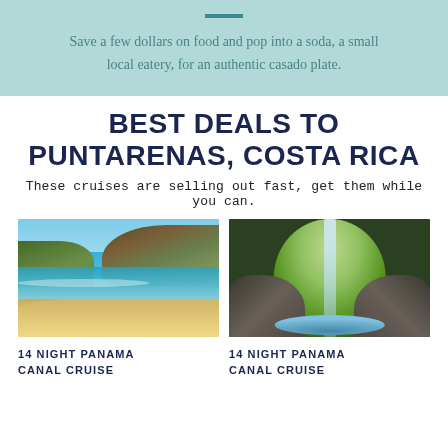Save a few dollars on food and pop into a soda, a small local eatery, for an authentic casado plate.
BEST DEALS TO PUNTARENAS, COSTA RICA
These cruises are selling out fast, get them while you can.
[Figure (photo): Beach scene with turquoise water, sandy shore, and green hills in background]
[Figure (photo): Waterfall through lush jungle vegetation viewed through rocky arch]
14 NIGHT PANAMA CANAL CRUISE
14 NIGHT PANAMA CANAL CRUISE